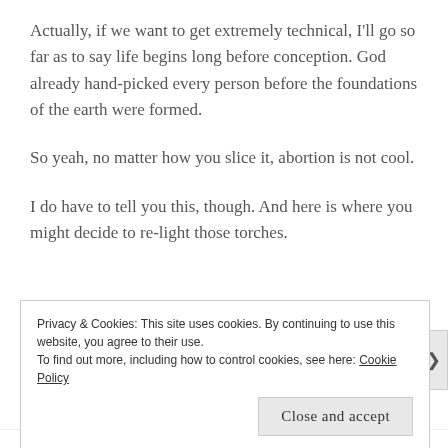Actually, if we want to get extremely technical, I'll go so far as to say life begins long before conception. God already hand-picked every person before the foundations of the earth were formed.
So yeah, no matter how you slice it, abortion is not cool.
I do have to tell you this, though. And here is where you might decide to re-light those torches.
Privacy & Cookies: This site uses cookies. By continuing to use this website, you agree to their use.
To find out more, including how to control cookies, see here: Cookie Policy
Close and accept